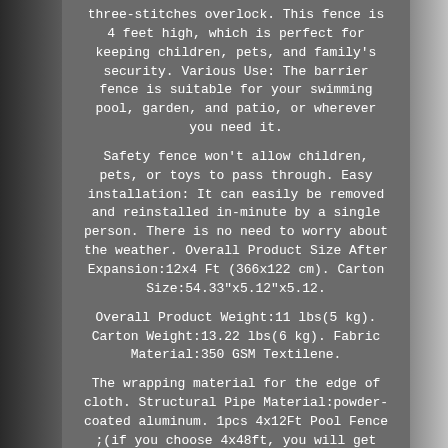three-stitches overlock. This fence is 4 feet high, which is perfect for keeping children, pets, and family's security. Various Use: The barrier fence is suitable for your swimming pool, garden, and patio, or wherever you need it.
Safety fence won't allow children, pets, or toys to pass through. Easy installation: It can easily be removed and reinstalled in-minute by a single person. There is no need to worry about the weather. Overall Product Size After Expansion:12x4 Ft (366x122 cm). Carton Size:54.33"x5.12"x5.12.
Overall Product Weight:11 lbs(5 kg). Carton Weight:13.22 lbs(6 kg). Fabric Material:350 GSM Textilene.
The wrapping material for the edge of cloth. Structural Pipe Material:powder-coated aluminum. 1pcs 4x12Ft Pool Fence ;(if you choose 4x48ft, you will get 4pcs 4x12ft fences).